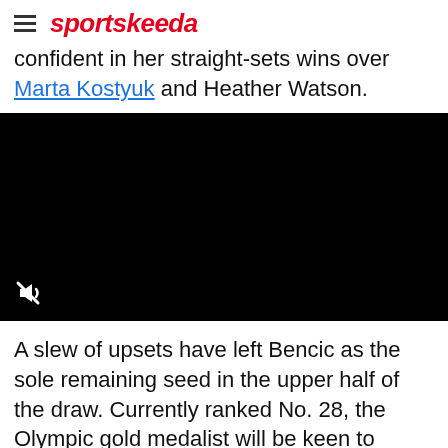sportskeeda
confident in her straight-sets wins over Marta Kostyuk and Heather Watson.
[Figure (other): Embedded video player with black background and mute icon in lower left corner]
A slew of upsets have left Bencic as the sole remaining seed in the upper half of the draw. Currently ranked No. 28, the Olympic gold medalist will be keen to capitalize on